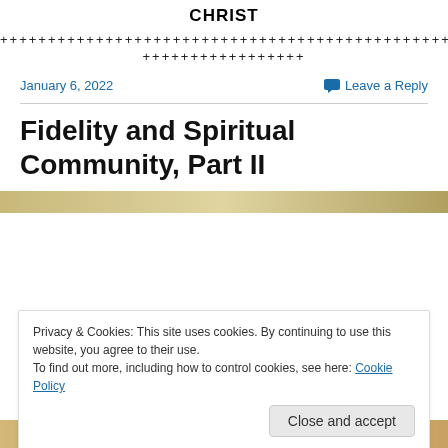CHRIST
++++++++++++++++++++++++++++++++++++++++++++++++++
+++++++++++++++++
January 6, 2022
Leave a Reply
Fidelity and Spiritual Community, Part II
[Figure (photo): Partial image strip at top of article photo]
Privacy & Cookies: This site uses cookies. By continuing to use this website, you agree to their use.
To find out more, including how to control cookies, see here: Cookie Policy
Close and accept
[Figure (photo): Bottom image strip]